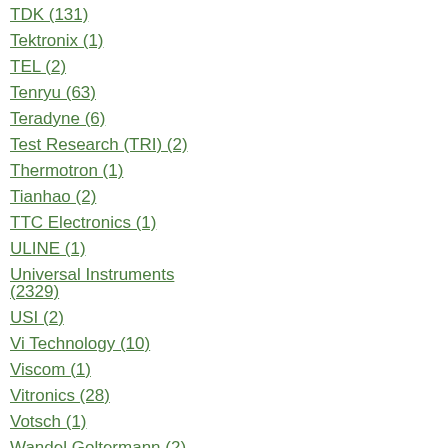TDK (131)
Tektronix (1)
TEL (2)
Tenryu (63)
Teradyne (6)
Test Research (TRI) (2)
Thermotron (1)
Tianhao (2)
TTC Electronics (1)
ULINE (1)
Universal Instruments (2329)
USI (2)
Vi Technology (10)
Viscom (1)
Vitronics (28)
Votsch (1)
Wandel Goltermann (2)
Westkleen (1)